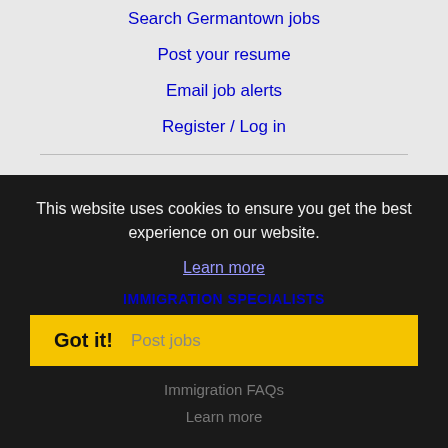Search Germantown jobs
Post your resume
Email job alerts
Register / Log in
EMPLOYERS
Post jobs
Search resumes
Email resume alerts
This website uses cookies to ensure you get the best experience on our website.
Learn more
IMMIGRATION SPECIALISTS
Got it!  Post jobs
Immigration FAQs
Learn more